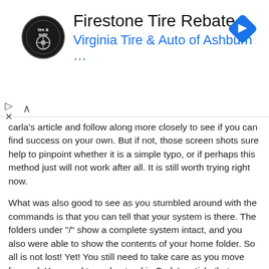[Figure (screenshot): Firestone Tire Rebate advertisement banner with Virginia Tire & Auto of Ashburn logo and navigation icon]
carla's article and follow along more closely to see if you can find success on your own. But if not, those screen shots sure help to pinpoint whether it is a simple typo, or if perhaps this method just will not work after all. It is still worth trying right now.
What was also good to see as you stumbled around with the commands is that you can tell that your system is there. The folders under "/" show a complete system intact, and you also were able to show the contents of your home folder. So all is not lost! Yet! You still need to take care as you move forward. You need to understand in Carla's article that your kernel numbers (vmlinuz and initrd) are going to be different... and you need to use the "tab completion" mechanism built-in to Linux to help you enter the proper values into the commands and not just follow her examples. Good luck!